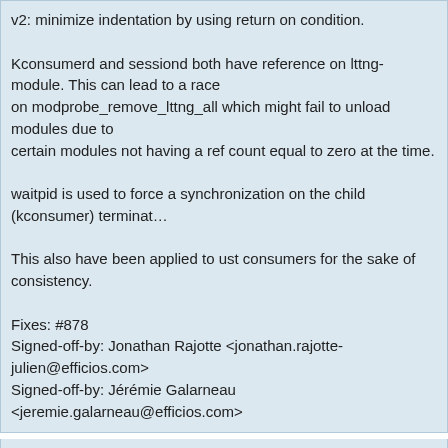v2: minimize indentation by using return on condition.

Kconsumerd and sessiond both have reference on lttng-module. This can lead to a race
on modprobe_remove_lttng_all which might fail to unload modules due to certain modules not having a ref count equal to zero at the time.

waitpid is used to force a synchronization on the child (kconsumer) termination.

This also have been applied to ust consumers for the sake of consistency.

Fixes: #878
Signed-off-by: Jonathan Rajotte <jonathan.rajotte-julien@efficios.com>
Signed-off-by: Jérémie Galarneau <jeremie.galarneau@efficios.com>
6 years ago   Fix: Buggy string comparison in ust registry ht_match_event
commit | commitdiff | tree
Jérémie Galarneau [Sat, 5 Sep 2015 19:35:42 +0000 (15:35 -0400)]
Fix: Buggy string comparison in ust registry ht_match_event

The second strncmp compares the first "strlen(event->signature) != 0"